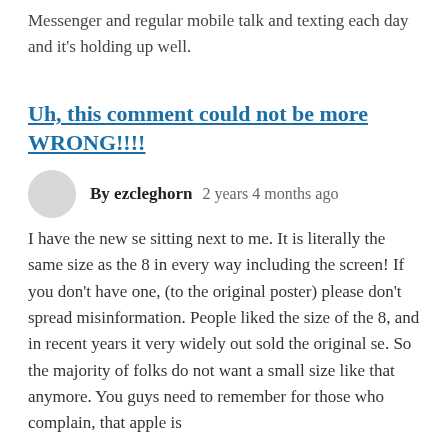Messenger and regular mobile talk and texting each day and it's holding up well.
Uh, this comment could not be more WRONG!!!!
By ezcleghorn   2 years 4 months ago
I have the new se sitting next to me. It is literally the same size as the 8 in every way including the screen! If you don't have one, (to the original poster) please don't spread misinformation. People liked the size of the 8, and in recent years it very widely out sold the original se. So the majority of folks do not want a small size like that anymore. You guys need to remember for those who complain, that apple is